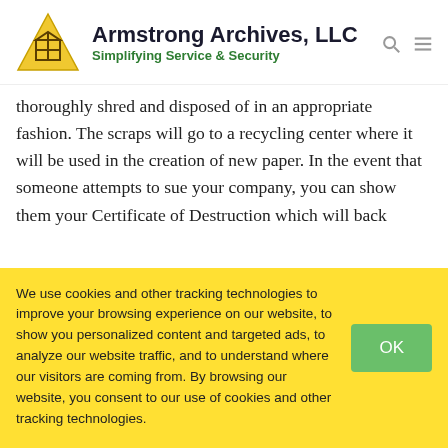[Figure (logo): Armstrong Archives LLC logo with yellow triangle containing a box outline, company name in dark blue bold, tagline 'Simplifying Service & Security' in green bold]
thoroughly shred and disposed of in an appropriate fashion. The scraps will go to a recycling center where it will be used in the creation of new paper. In the event that someone attempts to sue your company, you can show them your Certificate of Destruction which will back
We use cookies and other tracking technologies to improve your browsing experience on our website, to show you personalized content and targeted ads, to analyze our website traffic, and to understand where our visitors are coming from. By browsing our website, you consent to our use of cookies and other tracking technologies.